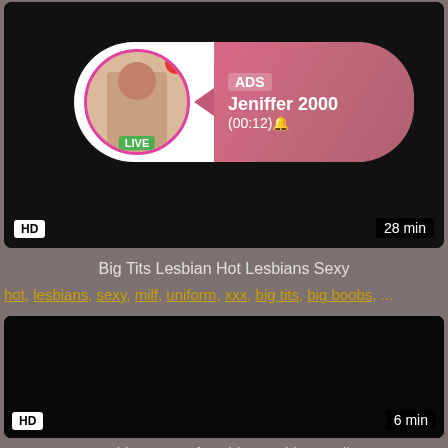[Figure (screenshot): Video thumbnail 1 - black background with ad overlay showing profile picture, LIVE badge, ADS label, name Jeniffer 2000, time (00:12), HD badge, 28 min duration]
Big Tits Lesbian Hot Lesbians Sexy
hot, lesbians, sexy, milf, uniform, xxx, big tits, big boobs, ...
[Figure (screenshot): Video thumbnail 2 - black/dark background, HD badge bottom left, 6 min duration bottom right]
Sapphic Curse Of Lesbian Lesbians Indian